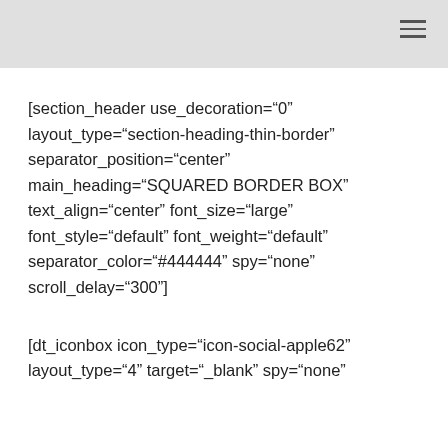[section_header use_decoration="0" layout_type="section-heading-thin-border" separator_position="center" main_heading="SQUARED BORDER BOX" text_align="center" font_size="large" font_style="default" font_weight="default" separator_color="#444444" spy="none" scroll_delay="300"]
[dt_iconbox icon_type="icon-social-apple62" layout_type="4" target="_blank" spy="none"